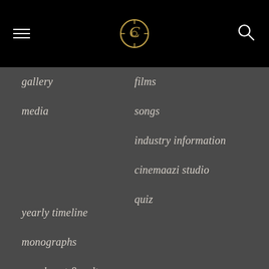Navigation header with hamburger menu, Cinemaazi logo, and search icon
gallery
media
films
songs
industry information
cinemaazi studio
quiz
yearly timeline
monographs
google art & culture
on this day
join our efforts
follow us